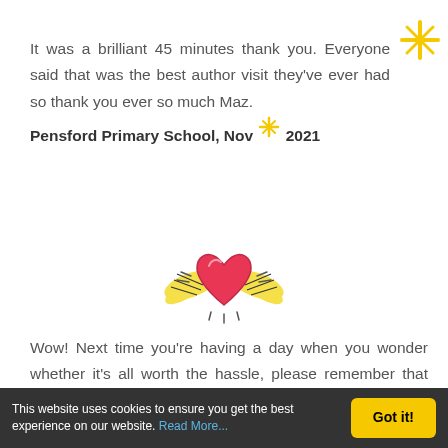[Figure (illustration): Yellow sparkle/star decoration in top-right corner]
It was a brilliant 45 minutes thank you. Everyone said that was the best author visit they've ever had so thank you ever so much Maz.
Pensford Primary School, Nov 2021
[Figure (illustration): Cartoon heart with yellow wings and motion lines, cheerful illustration]
Wow! Next time you're having a day when you wonder whether it's all worth the hassle, please remember that there are a very excitable bunch of children in deepest, darkest Cambridgeshire who were literally hanging on your every word and have declared you are their very-favourite-and-absolutely-never-to-be-replaced author!
This website uses cookies to ensure you get the best experience on our website. Read More...